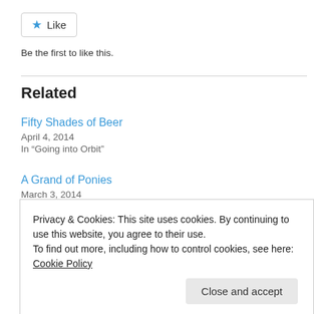[Figure (other): Like button with blue star icon and 'Like' label]
Be the first to like this.
Related
Fifty Shades of Beer
April 4, 2014
In "Going into Orbit"
A Grand of Ponies
March 3, 2014
In "Going into Orbit"
Privacy & Cookies: This site uses cookies. By continuing to use this website, you agree to their use.
To find out more, including how to control cookies, see here: Cookie Policy